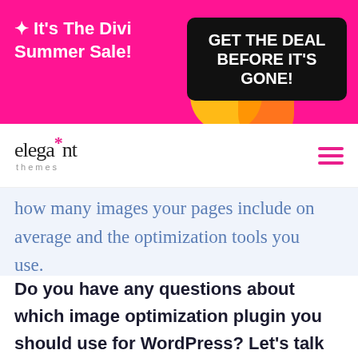[Figure (screenshot): Divi Summer Sale promotional banner with pink background, white bold text 'It's The Divi Summer Sale!' on the left, and a black rounded rectangle button with white text 'GET THE DEAL BEFORE IT'S GONE!' on the right. Yellow and orange circular accent shapes in background.]
[Figure (logo): Elegant Themes logo: stylized italic text 'elegant' with asterisk above the 't', word 'themes' in small caps below. Hamburger menu icon (three horizontal pink lines) on the right.]
how many images your pages include on average and the optimization tools you use.
Do you have any questions about which image optimization plugin you should use for WordPress? Let's talk about them in the comments section below!